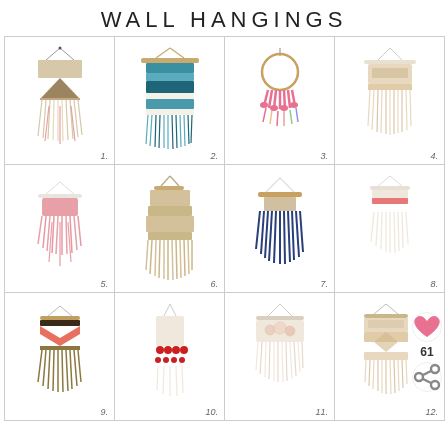WALL HANGINGS
[Figure (photo): Grid of 12 boho wall hangings numbered 1-12, macrame and woven textile wall decorations in various styles and colors]
61